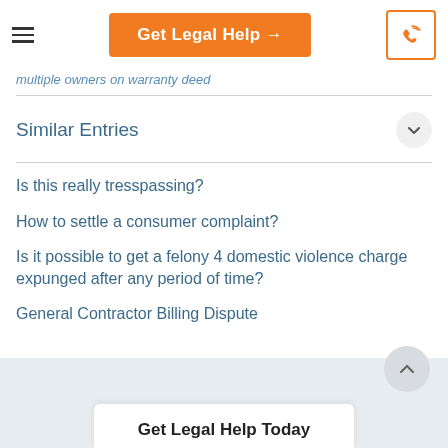Get Legal Help →
multiple owners on warranty deed
Similar Entries
Is this really tresspassing?
How to settle a consumer complaint?
Is it possible to get a felony 4 domestic violence charge expunged after any period of time?
General Contractor Billing Dispute
Get Legal Help Today